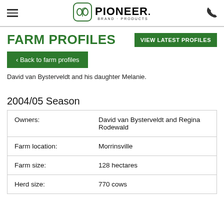PIONEER BRAND PRODUCTS
FARM PROFILES
VIEW LATEST PROFILES
< Back to farm profiles
David van Bysterveldt and his daughter Melanie.
2004/05 Season
| Owners: | David van Bysterveldt and Regina Rodewald |
| Farm location: | Morrinsville |
| Farm size: | 128 hectares |
| Herd size: | 770 cows |